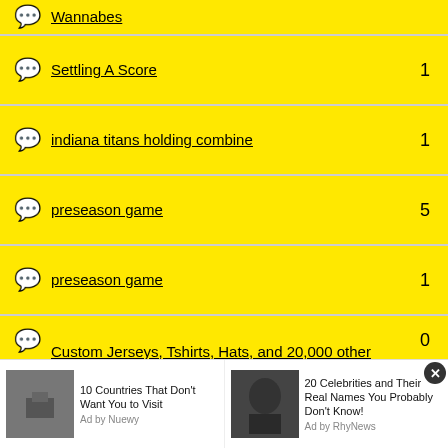Wannabes
Settling A Score  1
indiana titans holding combine  1
preseason game  5
preseason game  1
Custom Jerseys, Tshirts, Hats, and 20,000 other sports related items. Fast delivery, Cheap, & Local  0
MADDEN 09 TOURNAMENT  4
[Figure (infographic): Advertisement bar at bottom with two ad items: '10 Countries That Don't Want You to Visit' (Ad by Nuewy) and '20 Celebrities and Their Real Names You Probably Don't Know!' (Ad by RhyNews), with a close button.]